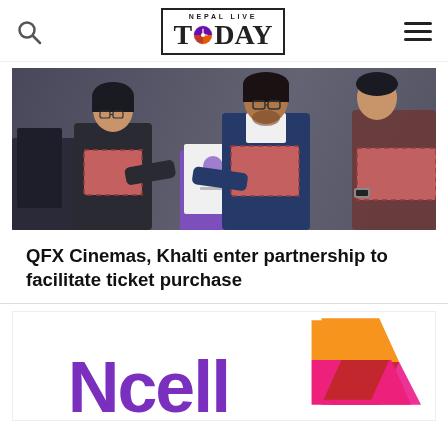Nepal Live Today - navigation header with search icon, logo, and hamburger menu
[Figure (photo): Three people at a formal signing ceremony. Two people in the foreground are exchanging or holding documents/an award, both wearing scarves. A third person is partially visible on the right edge.]
QFX Cinemas, Khalti enter partnership to facilitate ticket purchase
[Figure (logo): Ncell logo - purple wordmark 'Ncell' with orange/pink/magenta geometric arrow/chevron shape to the right]